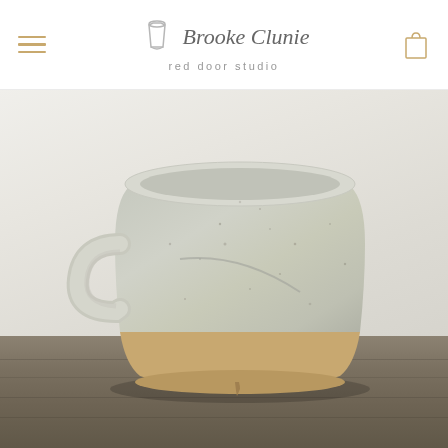Brooke Clunie red door studio
[Figure (photo): A handmade ceramic mug with a wide, shallow bowl shape. The mug has a matte grey-white speckled glaze on the upper portion and an unglazed natural stoneware clay base. It has a loop handle on the left side. The mug sits on a rustic wooden surface against a light grey-white background.]